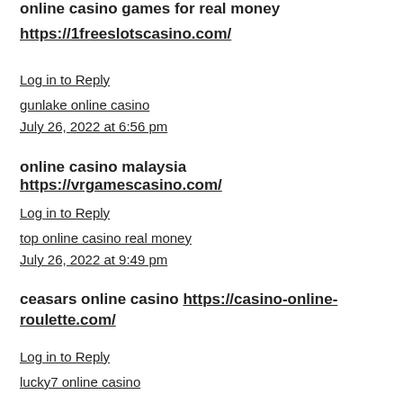online casino games for real money
https://1freeslotscasino.com/
Log in to Reply
gunlake online casino
July 26, 2022 at 6:56 pm
online casino malaysia https://vrgamescasino.com/
Log in to Reply
top online casino real money
July 26, 2022 at 9:49 pm
ceasars online casino https://casino-online-roulette.com/
Log in to Reply
lucky7 online casino